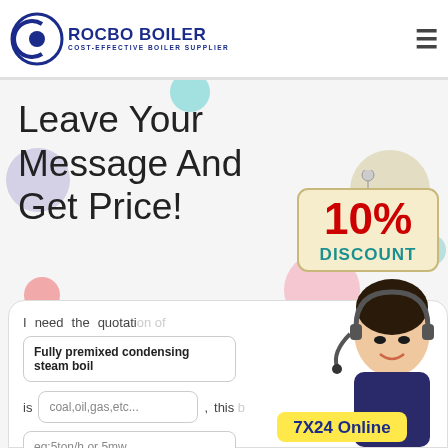[Figure (logo): Rocbo Boiler logo with circular icon and text 'ROCBO BOILER - COST-EFFECTIVE BOILER SUPPLIER']
Leave Your Message And Get Price!
[Figure (illustration): 10% DISCOUNT badge hanging sign]
I need the quotation of
Fully premixed condensing steam boil
is coal,oil,gas,etc... , this boilers
eg:5ton/h or 5mw
[Figure (photo): Customer service representative with headset, 7X24 Online text]
[Figure (infographic): Decorative colorful bubbles/circles in background]